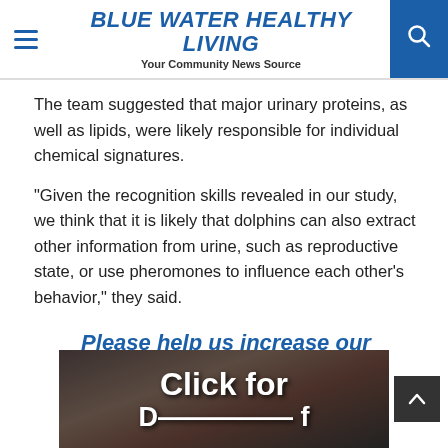BLUE WATER HEALTHY LIVING — Your Community News Source
The team suggested that major urinary proteins, as well as lipids, were likely responsible for individual chemical signatures.
“Given the recognition skills revealed in our study, we think that it is likely that dolphins can also extract other information from urine, such as reproductive state, or use pheromones to influence each other’s behavior,” they said.
Please help us increase our audience. Like, Share, and Comment!
[Figure (photo): Partially visible image with white text overlay reading 'Click for' and partially visible text below it, dark background with historical figure illustration]